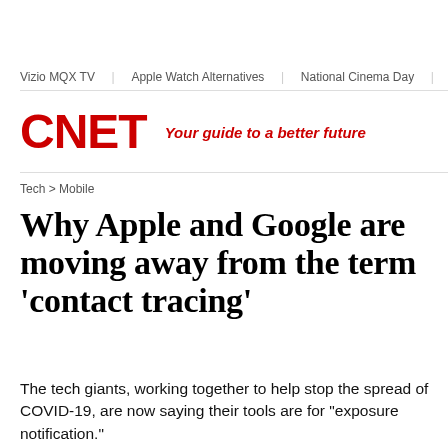Vizio MQX TV | Apple Watch Alternatives | National Cinema Day | Be…
[Figure (logo): CNET logo in red bold text with tagline 'Your guide to a better future' in red italic]
Tech > Mobile
Why Apple and Google are moving away from the term 'contact tracing'
The tech giants, working together to help stop the spread of COVID-19, are now saying their tools are for "exposure notification."